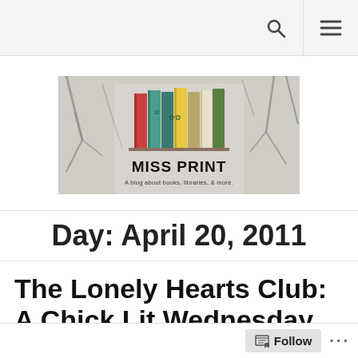Miss Print – A blog about books, libraries, & more.
[Figure (logo): Miss Print blog banner: colorful books on a bare winter tree branch background with text 'MISS PRINT – A blog about books, libraries, & more.']
Day: April 20, 2011
The Lonely Hearts Club: A Chick Lit Wednesday Review